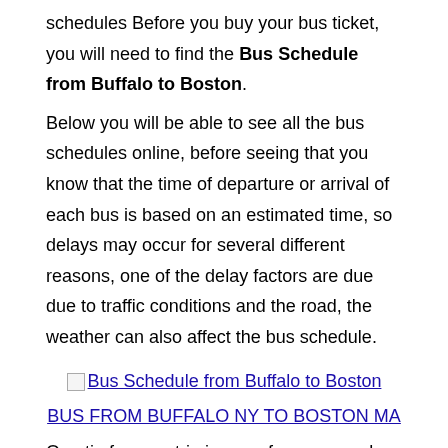schedules Before you buy your bus ticket, you will need to find the Bus Schedule from Buffalo to Boston.
Below you will be able to see all the bus schedules online, before seeing that you know that the time of departure or arrival of each bus is based on an estimated time, so delays may occur for several different reasons, one of the delay factors are due due to traffic conditions and the road, the weather can also affect the bus schedule.
[Figure (other): Broken image placeholder with link text 'Bus Schedule from Buffalo to Boston']
BUS FROM BUFFALO NY TO BOSTON MA
One tip for your trip is no unforeseen and problems is to arrive in advance of the departure time at the boarding point of the bus. Traveler who know more bus schedules and values of bus tickets go here our page to see all the routes. Greyhound Bus Tickets
Below you will find a list of all the cities for which there is a service